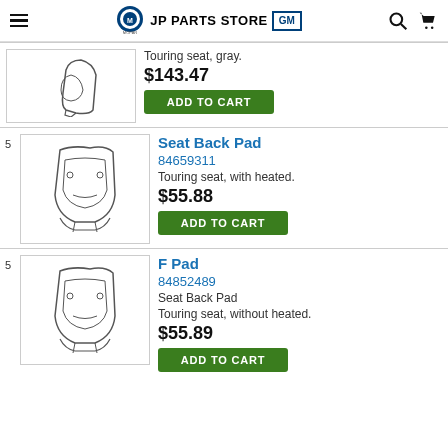JP PARTS STORE (GM / MOPAR)
Touring seat, gray.
$143.47
ADD TO CART
Seat Back Pad
84659311
Touring seat, with heated.
$55.88
ADD TO CART
F Pad
84852489
Seat Back Pad
Touring seat, without heated.
$55.89
ADD TO CART